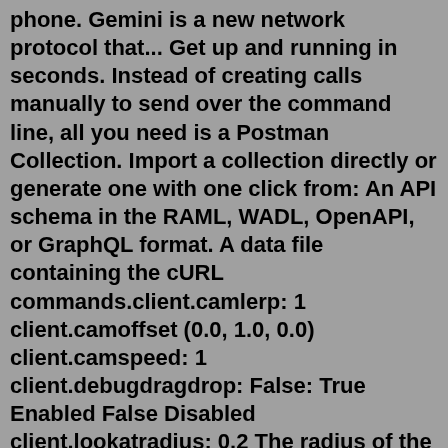phone. Gemini is a new network protocol that... Get up and running in seconds. Instead of creating calls manually to send over the command line, all you need is a Postman Collection. Import a collection directly or generate one with one click from: An API schema in the RAML, WADL, OpenAPI, or GraphQL format. A data file containing the cURL commands.client.camlerp: 1 client.camoffset (0.0, 1.0, 0.0) client.camspeed: 1 client.debugdragdrop: False: True Enabled False Disabled client.lookatradius: 0.2 The radius of the sphere trace used to determine what you're looking at. client.maxreceivetime: 20 client.maxunack: 4 Max amount of unacknowledged messages before we assume we're congested ...GitHub. Perfect place to report issues and make suggestions using the issues system. Talk direct to the devs. Learn More. Download PowerNukkit. Stable Versions. 1.5.2.1-PN. 2021-12-21 19:26. 1.17.40. Testing / Snapshot / Incomplete Versions . Pterodactyl Eggs.Service your modem, router, or phone easily! DC_unlocker is a program specialized in servicing